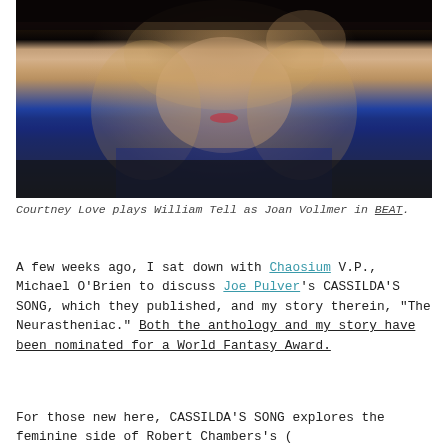[Figure (photo): A blonde woman with curly hair and red lips, wearing a dark navy top, with one hand raised to her head. The background is dark. This is Courtney Love as Joan Vollmer in BEAT.]
Courtney Love plays William Tell as Joan Vollmer in BEAT.
A few weeks ago, I sat down with Chaosium V.P., Michael O'Brien to discuss Joe Pulver's CASSILDA'S SONG, which they published, and my story therein, “The Neurastheniac.” Both the anthology and my story have been nominated for a World Fantasy Award.
For those new here, CASSILDA’S SONG explores the feminine side of Robert Chambers’s (